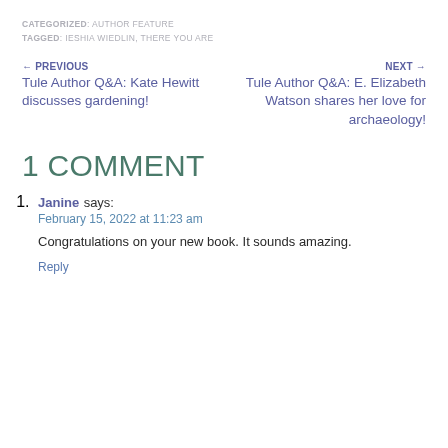CATEGORIZED: AUTHOR FEATURE
TAGGED: IESHIA WIEDLIN, THERE YOU ARE
← PREVIOUS
Tule Author Q&A: Kate Hewitt discusses gardening!
NEXT →
Tule Author Q&A: E. Elizabeth Watson shares her love for archaeology!
1 COMMENT
Janine says:
February 15, 2022 at 11:23 am
Congratulations on your new book. It sounds amazing.
Reply